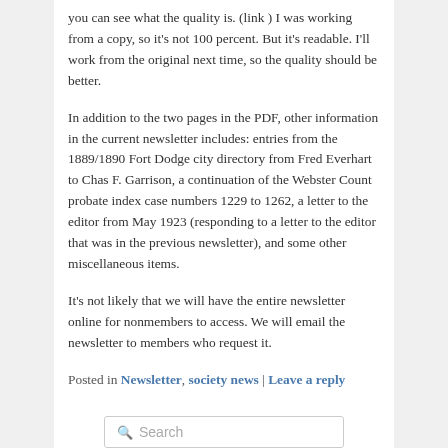you can see what the quality is. (link ) I was working from a copy, so it's not 100 percent. But it's readable. I'll work from the original next time, so the quality should be better.
In addition to the two pages in the PDF, other information in the current newsletter includes: entries from the 1889/1890 Fort Dodge city directory from Fred Everhart to Chas F. Garrison, a continuation of the Webster Count probate index case numbers 1229 to 1262, a letter to the editor from May 1923 (responding to a letter to the editor that was in the previous newsletter), and some other miscellaneous items.
It's not likely that we will have the entire newsletter online for nonmembers to access. We will email the newsletter to members who request it.
Posted in Newsletter, society news | Leave a reply